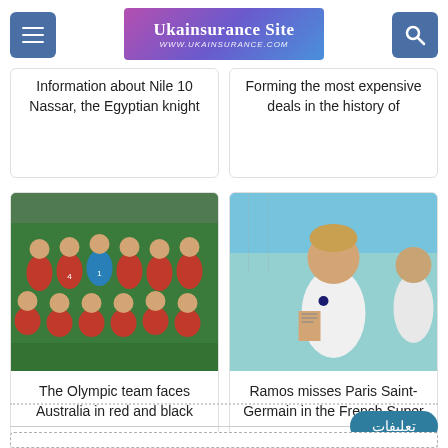Ukainsurance Site — www.ukainsurance.com
Information about Nile 10 Nassar, the Egyptian knight
Forming the most expensive deals in the history of
[Figure (photo): Egyptian football team in red uniforms posing for group photo]
The Olympic team faces Australia in red and black
[Figure (photo): Sergio Ramos in PSG white training kit]
Ramos misses Paris Saint-Germain in the French Super
تعليفات